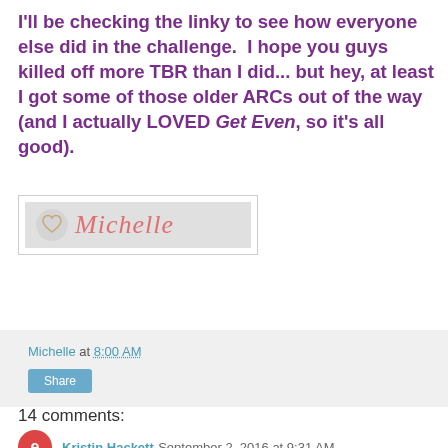I'll be checking the linky to see how everyone else did in the challenge.  I hope you guys killed off more TBR than I did... but hey, at least I got some of those older ARCs out of the way (and I actually LOVED Get Even, so it's all good).
[Figure (illustration): A signature graphic showing a cursive 'Michelle' in pink/salmon color with a heart logo icon on a gray background, inside a white bordered box.]
Michelle at 8:00 AM
Share
14 comments:
Kristin Hackett  September 2, 2016 at 9:31 AM